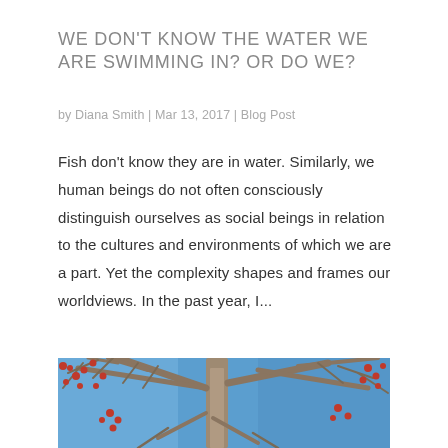WE DON'T KNOW THE WATER WE ARE SWIMMING IN? OR DO WE?
by Diana Smith | Mar 13, 2017 | Blog Post
Fish don't know they are in water. Similarly, we human beings do not often consciously distinguish ourselves as social beings in relation to the cultures and environments of which we are a part. Yet the complexity shapes and frames our worldviews. In the past year, I...
[Figure (photo): Photograph of bare tree branches with red berries against a blue sky, cropped at bottom of page.]